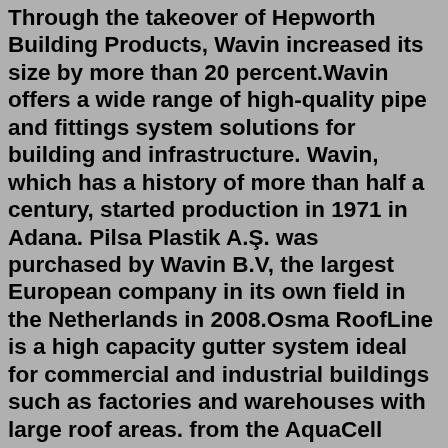Through the takeover of Hepworth Building Products, Wavin increased its size by more than 20 percent.Wavin offers a wide range of high-quality pipe and fittings system solutions for building and infrastructure. Wavin, which has a history of more than half a century, started production in 1971 in Adana. Pilsa Plastik A.Ş. was purchased by Wavin B.V, the largest European company in its own field in the Netherlands in 2008.Osma RoofLine is a high capacity gutter system ideal for commercial and industrial buildings such as factories and warehouses with large roof areas. from the AquaCell Stormwater Management System, if used in accordance ... Wavin Plastics Limited Parsonage Way Chippenham Wiltshire SN15 5PN Tel: 01249 766600 Fax: 01249 443286 website: www.wavin.co.uk ... Unit dimensions (nom) (mm) 1000 x 500 x 400 Unit volume (nom) (m3) 0.20WAVIN enrichit son offre avec AquaCell et propose ainsi une solution SAUL démocratisée, permettant de répondre à un plus large panel de projets. ... Le système se décline en cinq dimensions